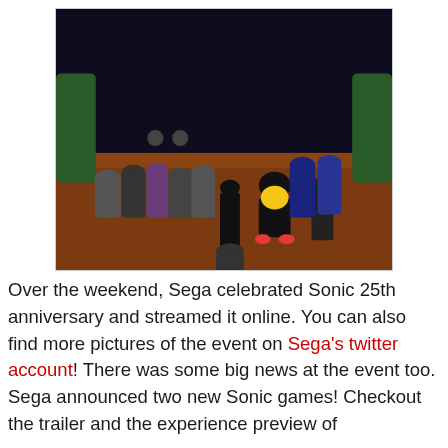[Figure (photo): Event photo showing a stage with a Sonic the Hedgehog mascot costume and crowd of attendees. A large screen at the back displays Sonic characters. The stage has a reddish-brown wooden floor. The Sonic 25th anniversary celebration event.]
Over the weekend, Sega celebrated Sonic 25th anniversary and streamed it online. You can also find more pictures of the event on Sega's twitter account! There was some big news at the event too. Sega announced two new Sonic games! Checkout the trailer and the experience preview of